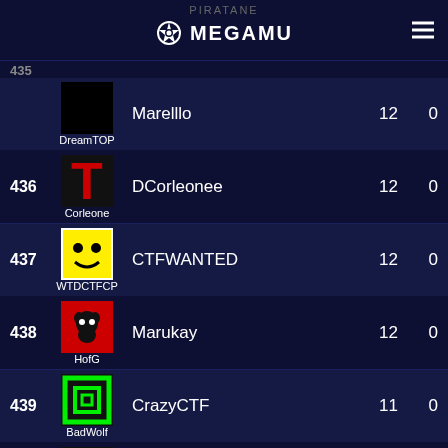MEGAMU
PIRATANE (partial, cut off at top)
| Rank | Guild | Player | Score | Val2 |
| --- | --- | --- | --- | --- |
| 435 | DreamTOP | Marelllo | 12 | 0 |
| 436 | Corleone | DCorleonee | 12 | 0 |
| 437 | WTDCTFCP | CTFWANTED | 12 | 0 |
| 438 | HofG | Marukay | 12 | 0 |
| 439 | BadWolf | CrazyCTF | 11 | 0 |
| 440 |  |  |  |  |